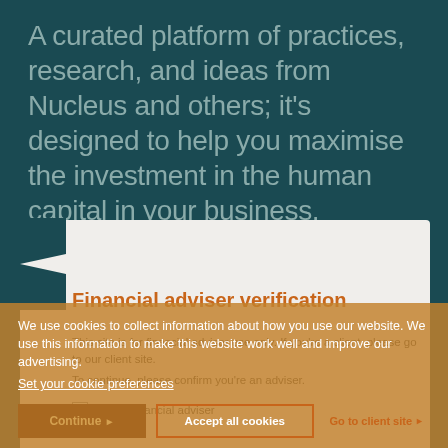A curated platform of practices, research, and ideas from Nucleus and others; it's designed to help you maximise the investment in the human capital in your business.
Financial adviser verification
This site is for financial adviser use only. If you're a client, please go to our client site.
To continue, please confirm you're an adviser.
I am a financial adviser
We use cookies to collect information about how you use our website. We use this information to make this website work well and improve our advertising.
Set your cookie preferences
Accept all cookies
Go to client site ▶